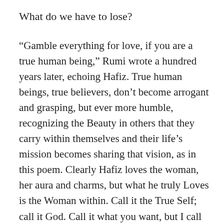What do we have to lose?
“Gamble everything for love, if you are a true human being,” Rumi wrote a hundred years later, echoing Hafiz. True human beings, true believers, don’t become arrogant and grasping, but ever more humble, recognizing the Beauty in others that they carry within themselves and their life’s mission becomes sharing that vision, as in this poem. Clearly Hafiz loves the woman, her aura and charms, but what he truly Loves is the Woman within. Call it the True Self; call it God. Call it what you want, but I call it good.